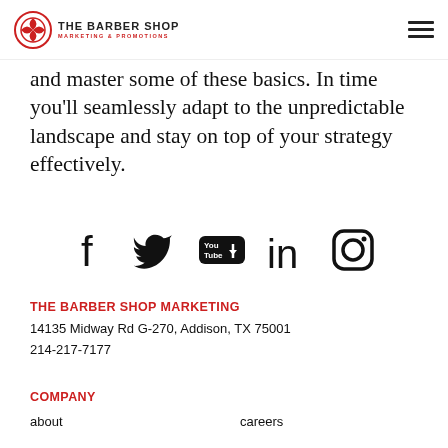THE BARBER SHOP — Marketing & Promotions logo and hamburger menu
and master some of these basics. In time you'll seamlessly adapt to the unpredictable landscape and stay on top of your strategy effectively.
[Figure (infographic): Social media icons row: Facebook, Twitter, YouTube, LinkedIn, Instagram]
THE BARBER SHOP MARKETING
14135 Midway Rd G-270, Addison, TX 75001
214-217-7177
COMPANY
about    careers